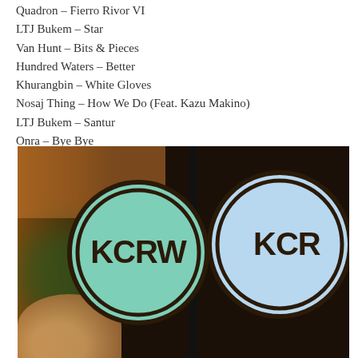Quadron – Fierro Rivor VI
LTJ Bukem – Star
Van Hunt – Bits & Pieces
Hundred Waters – Better
Khurangbin – White Gloves
Nosaj Thing – How We Do (Feat. Kazu Makino)
LTJ Bukem – Santur
Onra – Bye Bye
[Figure (photo): Photo of two KCRW radio station logo boxes/signs. Left box has a mint green circle with 'KCRW' text in dark brown. Right box has a light blue circle with 'KCRW' text partially visible. Dark background with warm orange tones on the left side and a hand visible at the bottom left.]